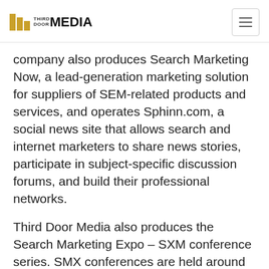Third Door Media
company also produces Search Marketing Now, a lead-generation marketing solution for suppliers of SEM-related products and services, and operates Sphinn.com, a social news site that allows search and internet marketers to share news stories, participate in subject-specific discussion forums, and build their professional networks.
Third Door Media also produces the Search Marketing Expo – SXM conference series. SMX conferences are held around the world and include: SMX West (San